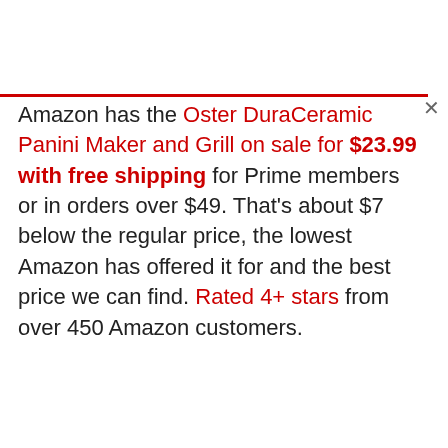Amazon has the Oster DuraCeramic Panini Maker and Grill on sale for $23.99 with free shipping for Prime members or in orders over $49. That's about $7 below the regular price, the lowest Amazon has offered it for and the best price we can find. Rated 4+ stars from over 450 Amazon customers.